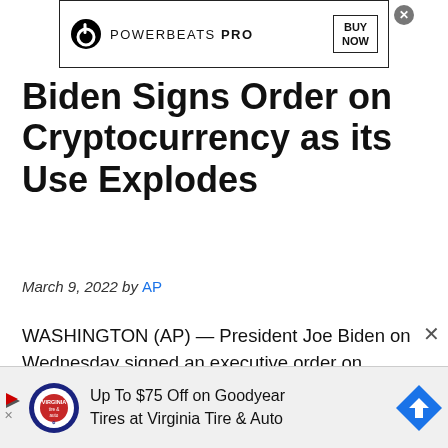[Figure (other): Powerbeats Pro advertisement banner with Beats logo, 'POWERBEATS PRO' text, and 'BUY NOW' box]
Biden Signs Order on Cryptocurrency as its Use Explodes
March 9, 2022 by AP
WASHINGTON (AP) — President Joe Biden on Wednesday signed an executive order on government oversight of cryptocurrency that urges the Federal Reserve to explore whether the central bank should jump in and create its own digital currency.
[Figure (other): Bottom advertisement: Up To $75 Off on Goodyear Tires at Virginia Tire & Auto with Virginia Tire & Auto logo and Google Maps arrow icon]